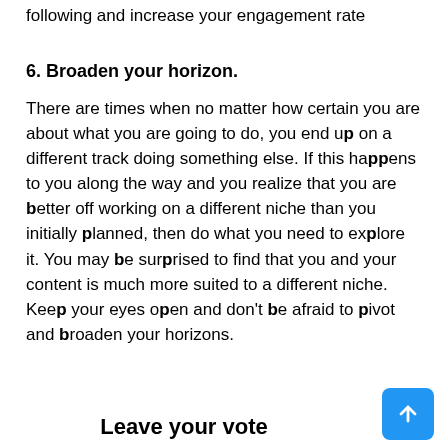following and increase your engagement rate
6. Broaden your horizon.
There are times when no matter how certain you are about what you are going to do, you end up on a different track doing something else. If this happens to you along the way and you realize that you are better off working on a different niche than you initially planned, then do what you need to explore it. You may be surprised to find that you and your content is much more suited to a different niche. Keep your eyes open and don't be afraid to pivot and broaden your horizons.
Leave your vote